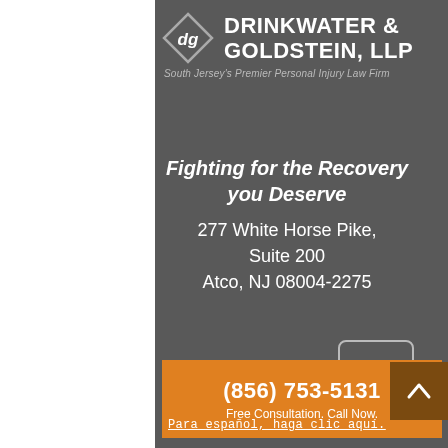[Figure (logo): Drinkwater & Goldstein LLP logo with diamond DG monogram and firm name]
Fighting for the Recovery you Deserve
277 White Horse Pike, Suite 200 Atco, NJ 08004-2275
[Figure (other): Hamburger menu button with three horizontal lines]
(856) 753-5131
Free Consultation. Call Now.
Para español, haga clic aquí.